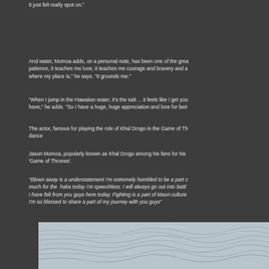It just felt really spot on."
And water, Momoa adds, on a personal note, has been one of the grea patience, it teaches me love, it teaches me courage and bravery and a where my place is," he says. "It grounds me."
"When I jump in the Hawaiian water, it's the salt ... it feels like I get you have," he adds. "So I have a huge, huge appreciation and love for beir
The actor, famous for playing the role of Khal Drogo in the Game of Th dance
Jason Momoa, popularly known as Khal Drogo among his fans for his 'Game of Thrones'.
"Blown away is a understatement I'm extremely humbled to be a part c much for the  haka today I'm speechless. I will always go out into battl I have felt from you guys here today. Fighting is a part of Maori culture I'm so blessed to share a part of my journey with you guys"
[Figure (photo): Photo of choppy water surface with grey/white waves, taken from above or at water level]